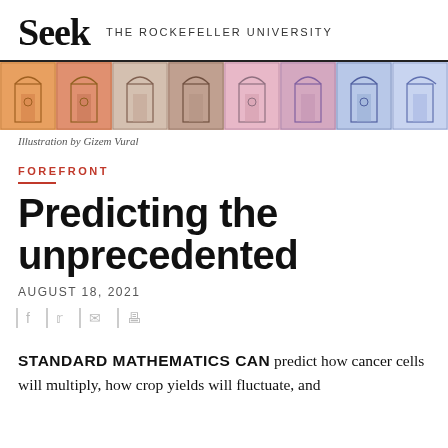Seek THE ROCKEFELLER UNIVERSITY
[Figure (illustration): Decorative banner illustration with geometric architectural motifs in warm orange, pink, red, and cool blue tones, repeated tile pattern]
Illustration by Gizem Vural
FOREFRONT
Predicting the unprecedented
AUGUST 18, 2021
STANDARD MATHEMATICS CAN predict how cancer cells will multiply, how crop yields will fluctuate, and